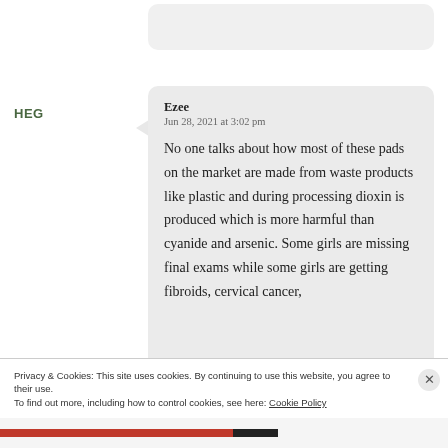[Figure (screenshot): Partial comment bubble cut off at top of page]
HEG
Ezee
Jun 28, 2021 at 3:02 pm

No one talks about how most of these pads on the market are made from waste products like plastic and during processing dioxin is produced which is more harmful than cyanide and arsenic. Some girls are missing final exams while some girls are getting fibroids, cervical cancer,
Privacy & Cookies: This site uses cookies. By continuing to use this website, you agree to their use.
To find out more, including how to control cookies, see here: Cookie Policy
Close and accept